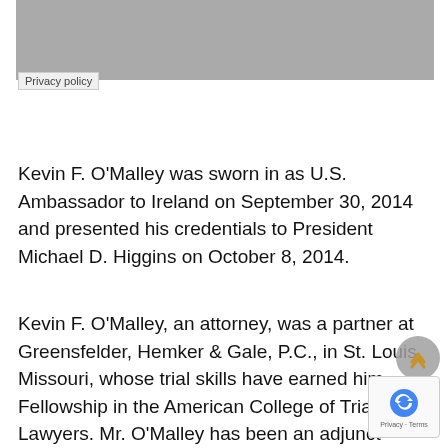[Figure (photo): Gray placeholder image area at the top of the page]
Privacy policy
Kevin F. O'Malley was sworn in as U.S. Ambassador to Ireland on September 30, 2014 and presented his credentials to President Michael D. Higgins on October 8, 2014.
Kevin F. O'Malley, an attorney, was a partner at Greensfelder, Hemker & Gale, P.C., in St. Louis, Missouri, whose trial skills have earned him Fellowship in the American College of Trial Lawyers. Mr. O'Malley has been an adjunct professor at both Washington University School of Law and Saint Louis University School of Law. He is a nationally recognized author of a treatise on jury instructions